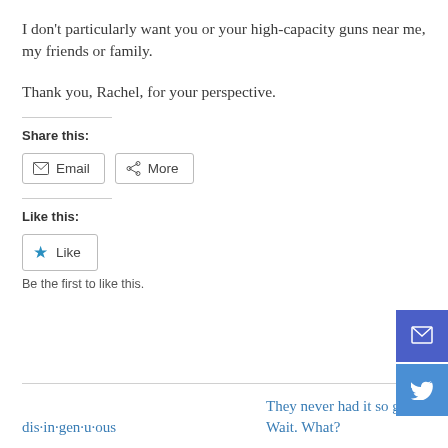I don't particularly want you or your high-capacity guns near me, my friends or family.
Thank you, Rachel, for your perspective.
Share this:
Email   More
Like this:
Like
Be the first to like this.
dis·in·gen·u·ous
They never had it so good. Wait. What?